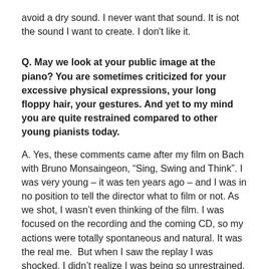avoid a dry sound. I never want that sound. It is not the sound I want to create. I don't like it.
Q. May we look at your public image at the piano? You are sometimes criticized for your excessive physical expressions, your long floppy hair, your gestures. And yet to my mind you are quite restrained compared to other young pianists today.
A. Yes, these comments came after my film on Bach with Bruno Monsaingeon, “Sing, Swing and Think”. I was very young – it was ten years ago – and I was in no position to tell the director what to film or not. As we shot, I wasn’t even thinking of the film. I was focused on the recording and the coming CD, so my actions were totally spontaneous and natural. It was the real me.  But when I saw the replay I was shocked. I didn’t realize I was being so unrestrained. Remember that while playing I was conducting from the keyboard too, so I had to exaggerate my moves to communicate with